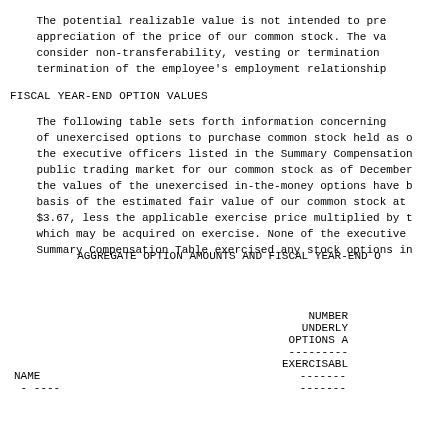The potential realizable value is not intended to pre-
appreciation of the price of our common stock. The va-
consider non-transferability, vesting or termination
termination of the employee's employment relationship
FISCAL YEAR-END OPTION VALUES
The following table sets forth information concerning
of unexercised options to purchase common stock held as o-
the executive officers listed in the Summary Compensation
public trading market for our common stock as of December
the values of the unexercised in-the-money options have b-
basis of the estimated fair value of our common stock at
$3.67, less the applicable exercise price multiplied by t-
which may be acquired on exercise. None of the executive
Summary Compensation Table exercised any stock options in
AGGREGATE OPTION AMOUNTS AND FISCAL YEAR-END O
| NAME | NUMBER
UNDERLY
OPTIONS A
---------
EXERCISABL |
| --- | --- |
|  - ---- | ------- |